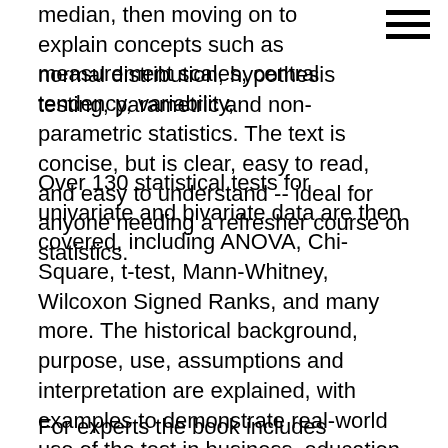median, then moving on to explain concepts such as measurement scales, central tendency, variability, normal distribution, hypothesis testing, parametric and non-parametric statistics. The text is concise, but is clear, easy to read, and easy to understand -- ideal for anyone needing a refresher course on statistics.
Over 130 statistical tests for univariate and bivariate data are then covered, including ANOVA, Chi-Square, t-test, Mann-Whitney, Wilcoxon Signed Ranks, and many more. The historical background, purpose, use, assumptions and interpretation are explained, with examples to demonstrate real-world use of the test in business, education, life and environment science applications. Again, the text is very easy to read, and the extensive use of examples really helps to demonstrate how the tests are used in practical situations.
For experts the book includes formulas (without